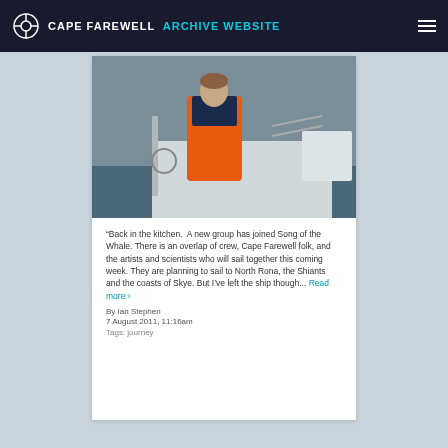CAPE FAREWELL ARCHIVE WEBSITE
[Figure (photo): Person wearing an orange life jacket/sailing jacket standing on the deck of a sailing vessel at sea, grey cloudy sky in background]
“Back in the kitchen.  A new group has joined Song of the Whale. There is an overlap of crew, Cape Farewell folk, and the artists and scientists who will sail together this coming week. They are planning to sail to North Rona, the Shiants and the coasts of Skye. But I’ve left the ship though... Read more ›
By Ian Stephen
7 August 2011, 11:16am
Tags: journey